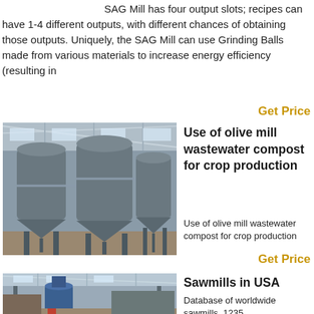SAG Mill has four output slots; recipes can have 1-4 different outputs, with different chances of obtaining those outputs. Uniquely, the SAG Mill can use Grinding Balls made from various materials to increase energy efficiency (resulting in
Get Price
[Figure (photo): Industrial facility interior showing large cylindrical silo/tank structures mounted on metal supports inside a warehouse with steel roof trusses]
Use of olive mill wastewater compost for crop production
Use of olive mill wastewater compost for crop production
Get Price
[Figure (photo): Industrial facility interior with machinery and blue ventilation/dust collection equipment visible]
Sawmills in USA
Database of worldwide sawmills. 1235